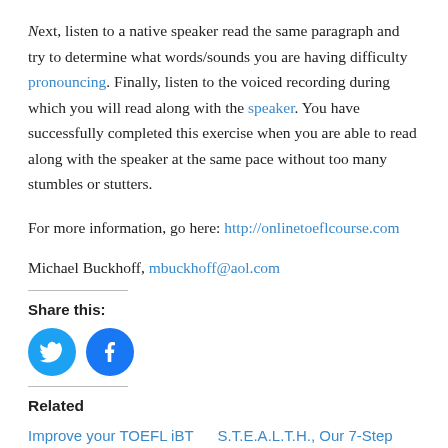Next, listen to a native speaker read the same paragraph and try to determine what words/sounds you are having difficulty pronouncing. Finally, listen to the voiced recording during which you will read along with the speaker. You have successfully completed this exercise when you are able to read along with the speaker at the same pace without too many stumbles or stutters.
For more information, go here: http://onlinetoeflcourse.com
Michael Buckhoff, mbuckhoff@aol.com
Share this:
[Figure (infographic): Twitter and Facebook share buttons (blue circular icons)]
Related
Improve your TOEFL iBT Speaking and...
S.T.E.A.L.T.H., Our 7-Step System TOEFL S...